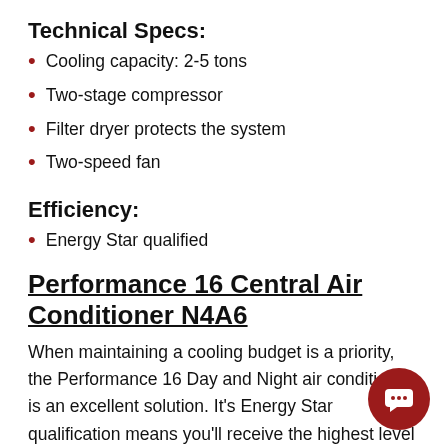Technical Specs:
Cooling capacity: 2-5 tons
Two-stage compressor
Filter dryer protects the system
Two-speed fan
Efficiency:
Energy Star qualified
Performance 16 Central Air Conditioner N4A6
When maintaining a cooling budget is a priority, the Performance 16 Day and Night air conditioner is an excellent solution. It's Energy Star qualification means you'll receive the highest level of efficiency. You'll also